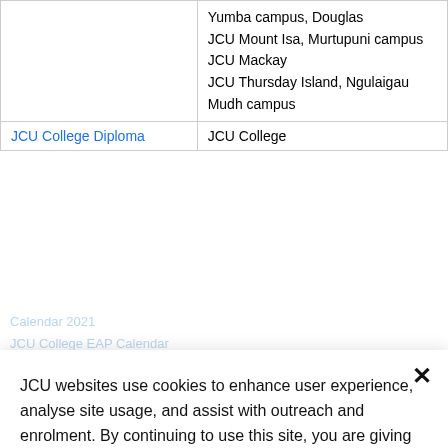| Program | Campus |
| --- | --- |
|  | Yumba campus, Douglas
JCU Mount Isa, Murtupuni campus
JCU Mackay
JCU Thursday Island, Ngulaigau Mudh campus |
| JCU College Diploma | JCU College |
JCU websites use cookies to enhance user experience, analyse site usage, and assist with outreach and enrolment. By continuing to use this site, you are giving us consent to do this.